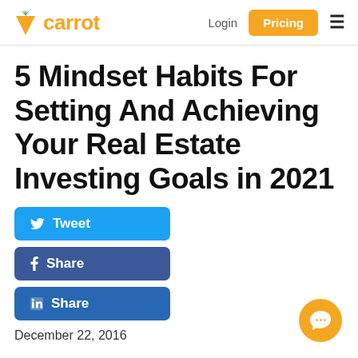carrot | Login | Pricing
5 Mindset Habits For Setting And Achieving Your Real Estate Investing Goals in 2021
Tweet
Share
Share
December 22, 2016